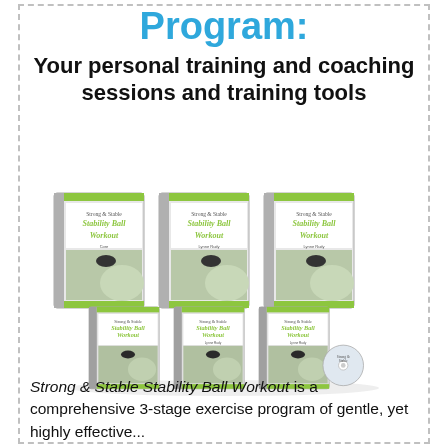Program:
Your personal training and coaching sessions and training tools
[Figure (illustration): Stack of 'Strong & Stable Stability Ball Workout' books/workbooks displayed in two rows with a DVD disc visible at the right side. Multiple copies of the spiral-bound books showing a woman with a stability ball on the cover.]
Strong & Stable Stability Ball Workout is a comprehensive 3-stage exercise program of gentle, yet highly effective...